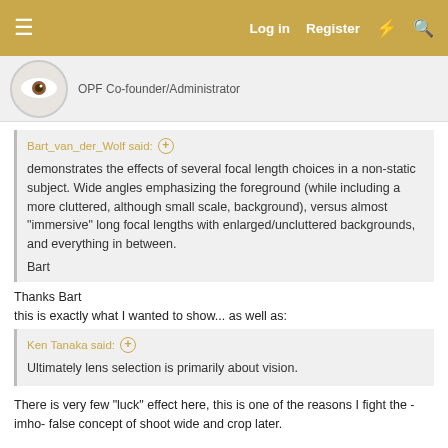Log in   Register
OPF Co-founder/Administrator
Bart_van_der_Wolf said: ⊕

demonstrates the effects of several focal length choices in a non-static subject. Wide angles emphasizing the foreground (while including a more cluttered, although small scale, background), versus almost "immersive" long focal lengths with enlarged/uncluttered backgrounds, and everything in between.

Bart
Thanks Bart
this is exactly what I wanted to show... as well as:
Ken Tanaka said: ⊕

Ultimately lens selection is primarily about vision.
There is very few "luck" effect here, this is one of the reasons I fight the -imho- false concept of shoot wide and crop later.